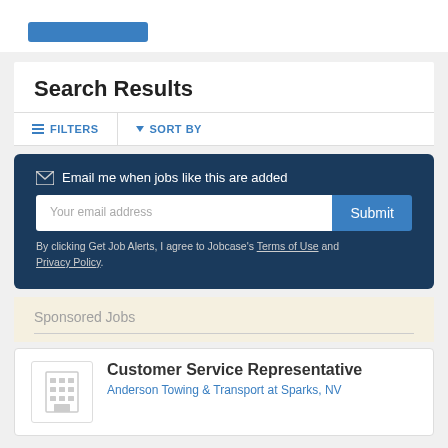[Figure (screenshot): Blue button at top of page]
Search Results
FILTERS
SORT BY
Email me when jobs like this are added
Your email address
Submit
By clicking Get Job Alerts, I agree to Jobcase's Terms of Use and Privacy Policy.
Sponsored Jobs
Customer Service Representative
Anderson Towing & Transport at Sparks, NV